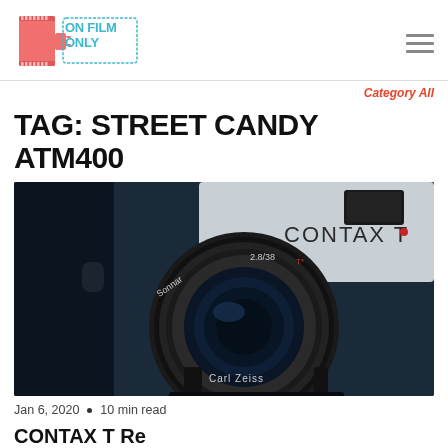ON FILM ONLY [logo]
Category All
TAG: STREET CANDY ATM400
[Figure (photo): Close-up photo of a Contax T film camera with Carl Zeiss Sonnar 28/38 lens, dark blue tones]
Jan 6, 2020  •  10 min read
CONTAX T Re...